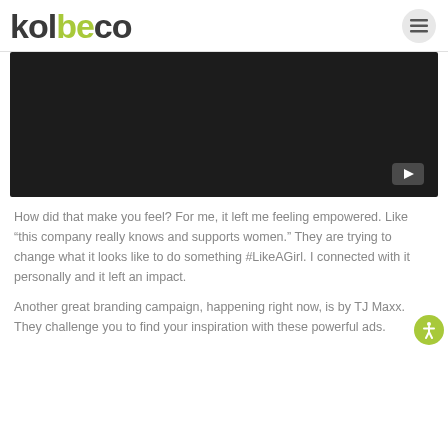kolbeco
[Figure (screenshot): Dark video player thumbnail with YouTube play button in bottom-right corner]
How did that make you feel? For me, it left me feeling empowered. Like “this company really knows and supports women.” They are trying to change what it looks like to do something #LikeAGirl. I connected with it personally and it left an impact.
Another great branding campaign, happening right now, is by TJ Maxx.  They challenge you to find your inspiration with these powerful ads.